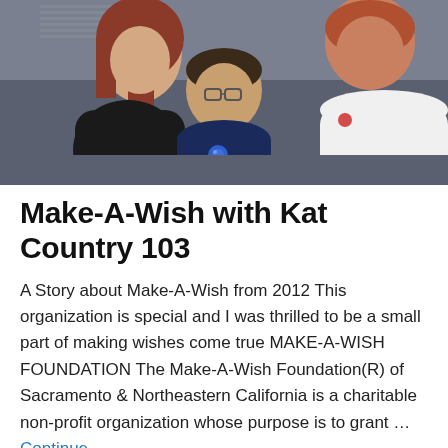[Figure (photo): Three people posing together indoors: a woman with reddish-brown hair wearing black on the left, a young boy with glasses wearing a navy blue sweatshirt with a blue button/badge in the center, and a man with red hair wearing a white polo shirt on the right.]
Make-A-Wish with Kat Country 103
A Story about Make-A-Wish from 2012 This organization is special and I was thrilled to be a small part of making wishes come true MAKE-A-WISH FOUNDATION The Make-A-Wish Foundation(R) of Sacramento & Northeastern California is a charitable non-profit organization whose purpose is to grant … Continue